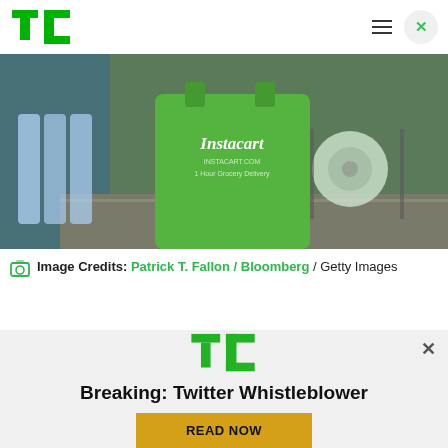TechCrunch header with logo and navigation
[Figure (photo): Instacart green shopping bag with '1 Hour Grocery Delivery' text on a grocery store conveyor belt]
Image Credits: Patrick T. Fallon / Bloomberg / Getty Images
Instacart announced today that it has raised $200 million in a new funding round featuring prior
[Figure (screenshot): TechCrunch ad overlay with TC logo, 'Breaking: Twitter Whistleblower' headline and 'READ NOW' yellow button]